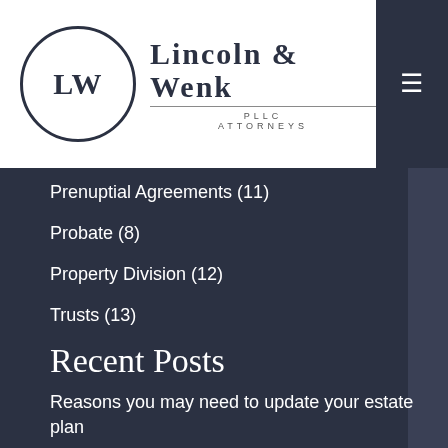[Figure (logo): Lincoln & Wenk PLLC Attorneys logo with circular LW emblem]
Prenuptial Agreements (11)
Probate (8)
Property Division (12)
Trusts (13)
Recent Posts
Reasons you may need to update your estate plan
How do I negotiate a parenting plan that works for everyone?
Divorcing a narcissist: What you need to